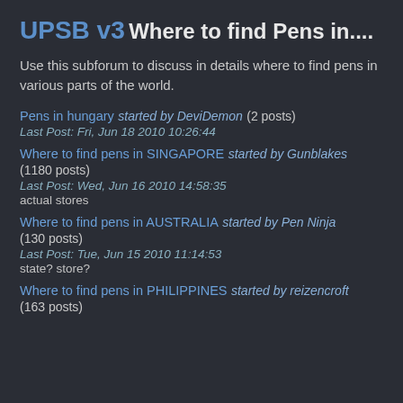UPSB v3
Where to find Pens in....
Use this subforum to discuss in details where to find pens in various parts of the world.
Pens in hungary started by DeviDemon (2 posts) Last Post: Fri, Jun 18 2010 10:26:44
Where to find pens in SINGAPORE started by Gunblakes (1180 posts) Last Post: Wed, Jun 16 2010 14:58:35 actual stores
Where to find pens in AUSTRALIA started by Pen Ninja (130 posts) Last Post: Tue, Jun 15 2010 11:14:53 state? store?
Where to find pens in PHILIPPINES started by reizencroft (163 posts)